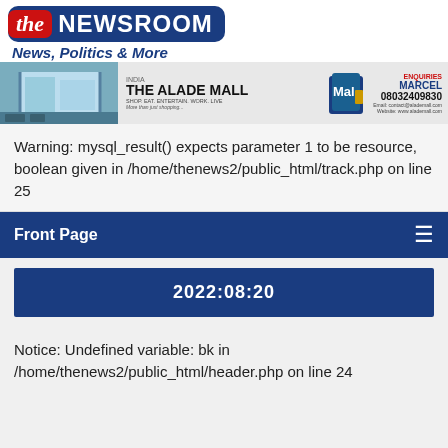[Figure (logo): The Newsroom logo with red 'the' box and blue 'NEWSROOM' text, tagline 'News, Politics & More']
[Figure (photo): The Alade Mall advertisement banner with building photo, mall name, logo icon, and contact details: ENQUIRIES MARCEL 08032409830]
Warning: mysql_result() expects parameter 1 to be resource, boolean given in /home/thenews2/public_html/track.php on line 25
Front Page
2022:08:20
Notice: Undefined variable: bk in /home/thenews2/public_html/header.php on line 24